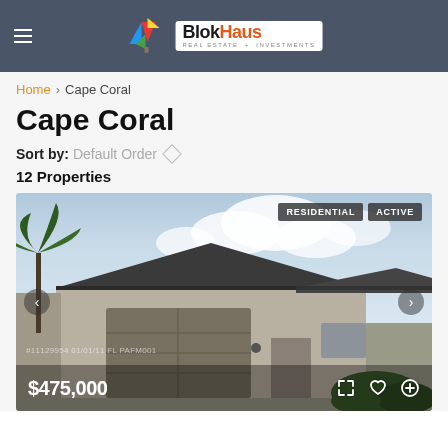BlokHaus Real Estate + Investments
Home > Cape Coral
Cape Coral
Sort by: Default Order
12 Properties
[Figure (photo): Single-story residential home with gray exterior, two-car garage, and palm trees visible. Badges read RESIDENTIAL and ACTIVE. Price shown: $475,000.]